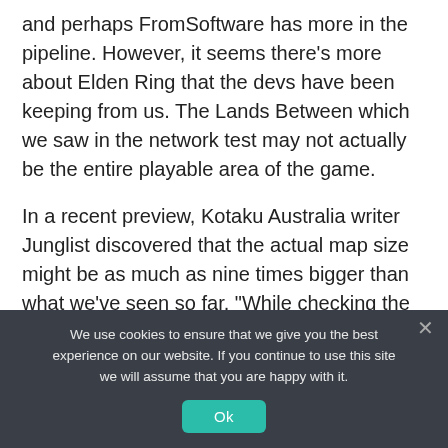and perhaps FromSoftware has more in the pipeline. However, it seems there's more about Elden Ring that the devs have been keeping from us. The Lands Between which we saw in the network test may not actually be the entire playable area of the game.
In a recent preview, Kotaku Australia writer Junglist discovered that the actual map size might be as much as nine times bigger than what we've seen so far. "While checking the
We use cookies to ensure that we give you the best experience on our website. If you continue to use this site we will assume that you are happy with it.